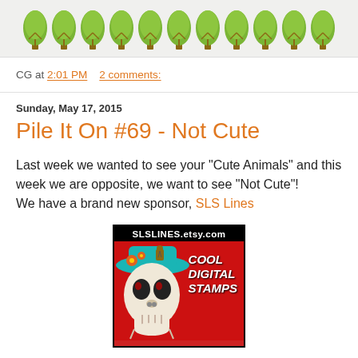[Figure (illustration): Header banner showing a row of green cartoon tree icons on a light gray background]
CG at 2:01 PM   2 comments:
Sunday, May 17, 2015
Pile It On #69 - Not Cute
Last week we wanted to see your "Cute Animals" and this week we are opposite, we want to see "Not Cute"!
We have a brand new sponsor, SLS Lines
[Figure (illustration): Advertisement for SLSLINES.etsy.com showing a skull with a teal hat and voodoo doll, red background, text reads COOL DIGITAL STAMPS]